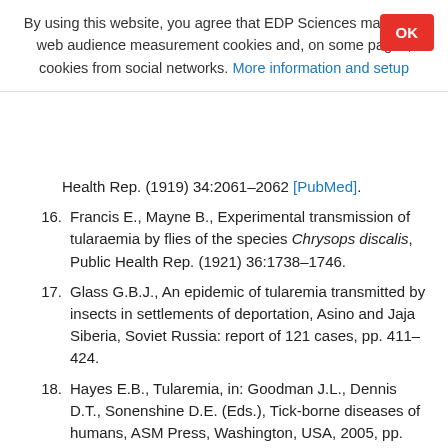By using this website, you agree that EDP Sciences may store web audience measurement cookies and, on some pages, cookies from social networks. More information and setup
Health Rep. (1919) 34:2061–2062 [PubMed].
16. Francis E., Mayne B., Experimental transmission of tularaemia by flies of the species Chrysops discalis, Public Health Rep. (1921) 36:1738–1746.
17. Glass G.B.J., An epidemic of tularemia transmitted by insects in settlements of deportation, Asino and Jaja Siberia, Soviet Russia: report of 121 cases, pp. 411–424.
18. Hayes E.B., Tularemia, in: Goodman J.L., Dennis D.T., Sonenshine D.E. (Eds.), Tick-borne diseases of humans, ASM Press, Washington, USA, 2005, pp. 207–217.
19. Helvaci S., Gedikoglu S., Akalin H., Oral H.B., Tularemia in Bursa, Turkey: 205 cases in ten years, Eur. J. Epidemiol. (2000) 16:271–276 [CrossRef] [PubMed].
20. Hopla C.E., Downs C.M., The isolation of Bacterium